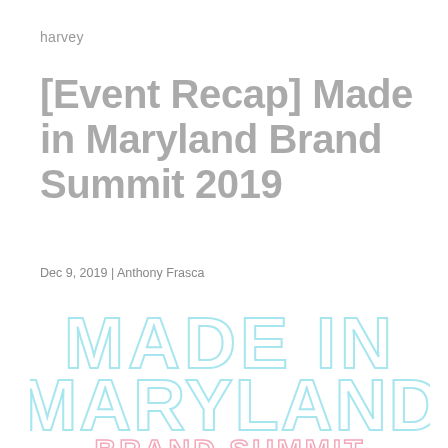harvey
[Event Recap] Made in Maryland Brand Summit 2019
Dec 9, 2019 | Anthony Frasca
[Figure (logo): Made in Maryland Brand Summit decorative logo text in light blue/cyan outlined letters with pink 'BRAND SUMMIT' text at bottom]